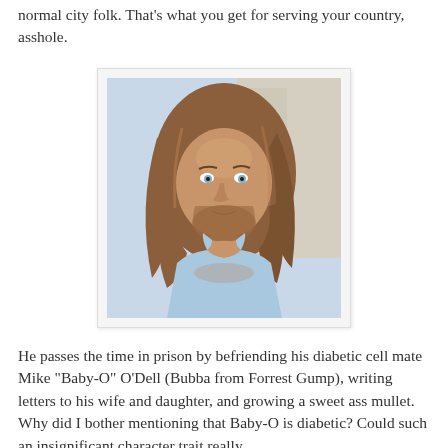normal city folk. That's what you get for serving your country, asshole.
[Figure (photo): Man with long brown wavy hair and beard wearing a light blue tank top, photographed outdoors against a light background.]
He passes the time in prison by befriending his diabetic cell mate Mike "Baby-O" O'Dell (Bubba from Forrest Gump), writing letters to his wife and daughter, and growing a sweet ass mullet. Why did I bother mentioning that Baby-O is diabetic? Could such an insignificant character trait really